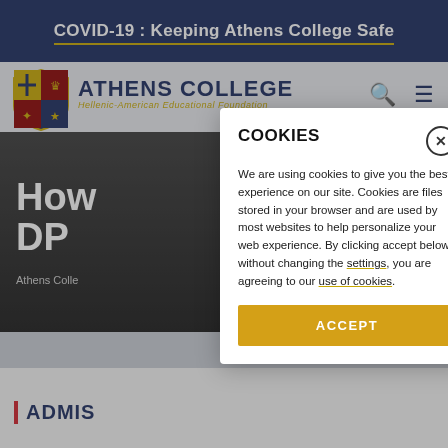COVID-19 : Keeping Athens College Safe
[Figure (screenshot): Athens College website header with shield logo, college name, and navigation icons]
How DP
Athens Colle
ADMIS
COOKIES
We are using cookies to give you the best experience on our site. Cookies are files stored in your browser and are used by most websites to help personalize your web experience. By clicking accept below without changing the settings, you are agreeing to our use of cookies.
ACCEPT